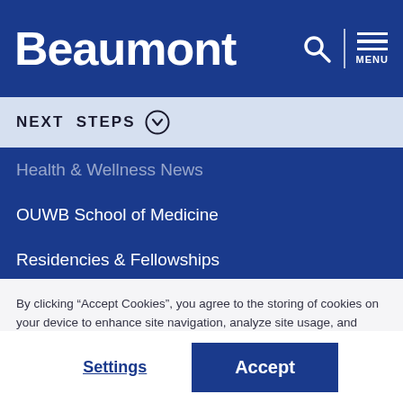Beaumont
NEXT STEPS
Health & Wellness News
OUWB School of Medicine
Residencies & Fellowships
By clicking “Accept Cookies”, you agree to the storing of cookies on your device to enhance site navigation, analyze site usage, and assist in our marketing efforts.
Settings | Accept